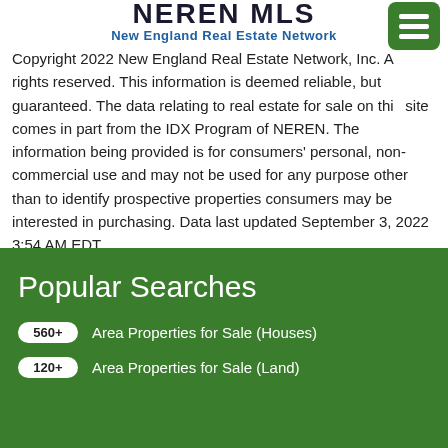[Figure (logo): NEREN MLS New England Real Estate Network logo with dark block letters and blue subtitle]
Copyright 2022 New England Real Estate Network, Inc. All rights reserved. This information is deemed reliable, but not guaranteed. The data relating to real estate for sale on this site comes in part from the IDX Program of NEREN. The information being provided is for consumers' personal, non-commercial use and may not be used for any purpose other than to identify prospective properties consumers may be interested in purchasing. Data last updated September 3, 2022 3:54 AM EDT.
Popular Searches
560+  Area Properties for Sale (Houses)
120+  Area Properties for Sale (Land)